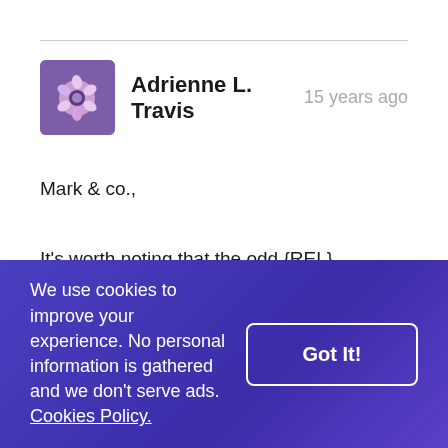Adrienne L. Travis
15 years ago
Mark & co.,
It's worth noting that the odd {REL} behavior apparently sometimes happens even if you ARE running PHP 5 – i'm on 5.2.1, and had the same issue.
However, your fix to mod.weblog works for me too! Just thought i'd contribute that you might try the fix
We use cookies to improve your experience. No personal information is gathered and we don't serve ads. Cookies Policy.